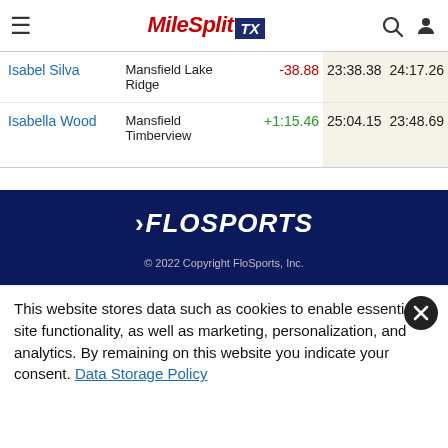MileSplit TX
| Name | School | Diff | Time1 | Time2 |
| --- | --- | --- | --- | --- |
| Isabel Silva | Mansfield Lake Ridge | -38.88 | 23:38.38 | 24:17.26 |
| Isabella Wood | Mansfield Timberview | +1:15.46 | 25:04.15 | 23:48.69 |
[Figure (logo): FloSports logo with tagline]
© 2022 Copyright FloSports, Inc.
This website stores data such as cookies to enable essential site functionality, as well as marketing, personalization, and analytics. By remaining on this website you indicate your consent. Data Storage Policy